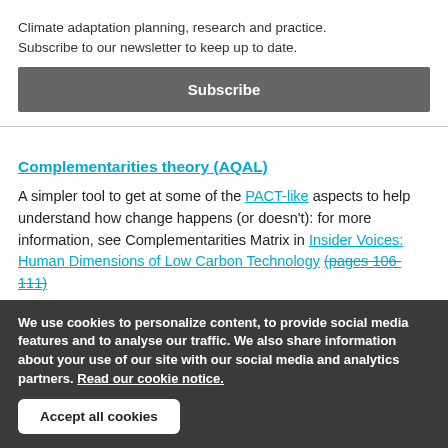Climate adaptation planning, research and practice. Subscribe to our newsletter to keep up to date.
Subscribe
Complementarities theory (AQAL)
A simpler tool to get at some of the PACT-like aspects to help understand how change happens (or doesn't): for more information, see Complementarities Matrix in Insider Voices: Human Dimensions of Low Carbon Technology (pages 106-111).
We use cookies to personalize content, to provide social media features and to analyse our traffic. We also share information about your use of our site with our social media and analytics partners. Read our cookie notice.
Accept all cookies